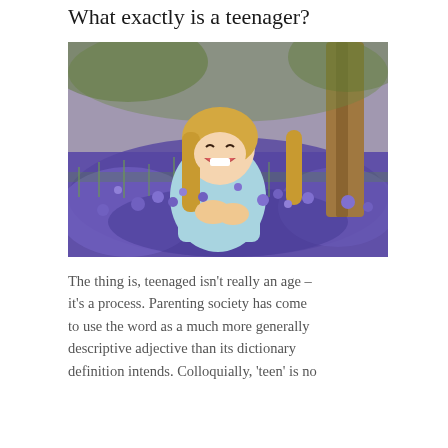What exactly is a teenager?
[Figure (photo): A young girl with long blonde hair, wearing a light blue sweater, laughing and sitting among purple bluebell flowers in a woodland setting. There is a tree trunk visible behind her.]
The thing is, teenaged isn’t really an age – it’s a process. Parenting society has come to use the word as a much more generally descriptive adjective than its dictionary definition intends. Colloquially, ‘teen’ is no